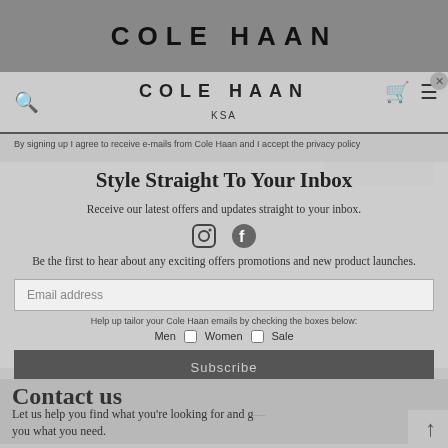[Figure (logo): Cole Haan logo in top dark gray bar]
COLE HAAN KSA
By signing up I agree to receive e-mails from Cole Haan and I accept the privacy policy
Style Straight To Your Inbox
Receive our latest offers and updates straight to your inbox.
[Figure (logo): Instagram and Facebook social media icons]
Be the first to hear about any exciting offers promotions and new product launches.
Email address
Help up tailor your Cole Haan emails by checking the boxes below:
Men  Women  Sale
Subscribe
By signing up I agree to receive e-mails from Cole Haan and I accept the Privacy Policy
Contact us
Let us help you find what you're looking for and give you what you need.